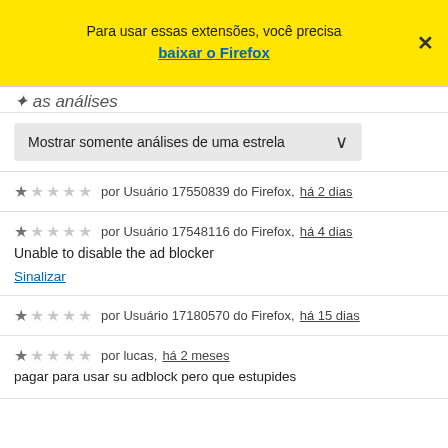Para usar essas extensões, você precisa baixar o Firefox
Mostrar somente análises de uma estrela
★☆☆☆☆ por Usuário 17550839 do Firefox, há 2 dias
★☆☆☆☆ por Usuário 17548116 do Firefox, há 4 dias
Unable to disable the ad blocker
Sinalizar
★☆☆☆☆ por Usuário 17180570 do Firefox, há 15 dias
★☆☆☆☆ por lucas, há 2 meses
pagar para usar su adblock pero que estupides